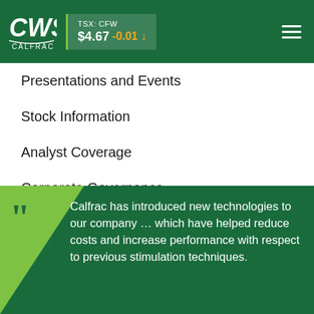[Figure (logo): CWS Calfrac logo - white stylized CWS letters with CALFRAC text below on green background]
TSX: CFW $4.67 -0.01 ↓
Presentations and Events
Stock Information
Analyst Coverage
Corporate Governance
Contacts & Alerts
Calfrac has introduced new technologies to our company … which have helped reduce costs and increase performance with respect to previous stimulation techniques.